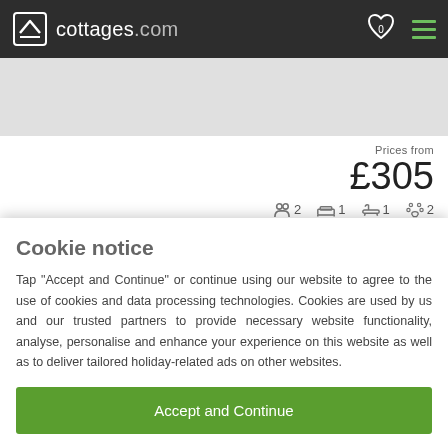cottages.com
Prices from £305
[Figure (other): Property listing icons: 2 guests, 1 bedroom, 1 bathroom, 2 pets; rating 9.5, 3 stars out of 5]
Walnut Tree Cottage
Bucknell, near Clun, Herefords.
Cookie notice
Tap "Accept and Continue" or continue using our website to agree to the use of cookies and data processing technologies. Cookies are used by us and our trusted partners to provide necessary website functionality, analyse, personalise and enhance your experience on this website as well as to deliver tailored holiday-related ads on other websites.
Accept and Continue